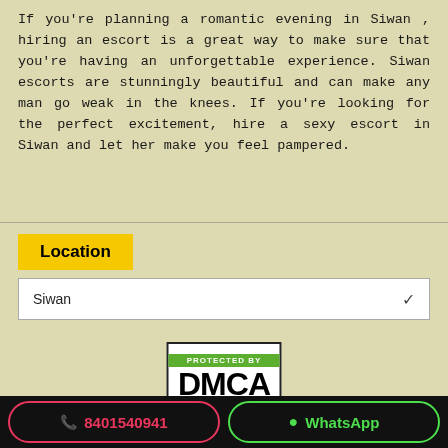If you're planning a romantic evening in Siwan , hiring an escort is a great way to make sure that you're having an unforgettable experience. Siwan escorts are stunningly beautiful and can make any man go weak in the knees. If you're looking for the perfect excitement, hire a sexy escort in Siwan and let her make you feel pampered.
Location
Siwan
[Figure (logo): DMCA Protected By badge with green top bar and bold black DMCA text]
[Figure (logo): Protected by Copyscape black rounded badge]
📞 8401540941   WhatsApp